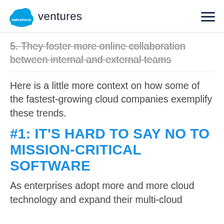salesforce ventures
5. They foster more online collaboration between internal and external teams
Here is a little more context on how some of the fastest-growing cloud companies exemplify these trends.
#1: IT'S HARD TO SAY NO TO MISSION-CRITICAL SOFTWARE
As enterprises adopt more and more cloud technology and expand their multi-cloud